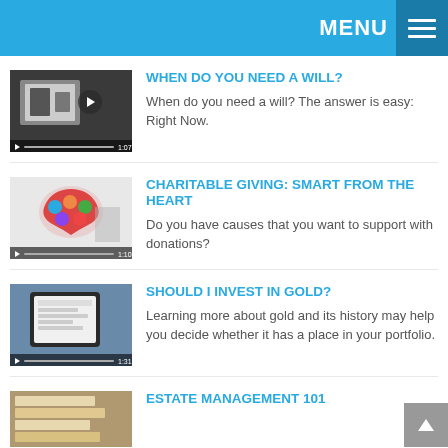MENU
[Figure (photo): Video thumbnail showing hands playing a board game, with play controls and duration 1:07]
WHEN DO YOU NEED A WILL?
When do you need a will? The answer is easy: Right Now.
[Figure (photo): Video thumbnail showing hands holding a heart-shaped collage, with play controls and duration 1:10]
CHARITABLE GIVING: SMART FROM THE HEART
Do you have causes that you want to support with donations?
[Figure (photo): Video thumbnail showing a hand holding a tablet with financial document, with play controls and duration 1:31]
SHOULD I INVEST IN GOLD?
Learning more about gold and its history may help you decide whether it has a place in your portfolio.
[Figure (photo): Video thumbnail showing financial documents, partially visible]
ESTATE MANAGEMENT 101